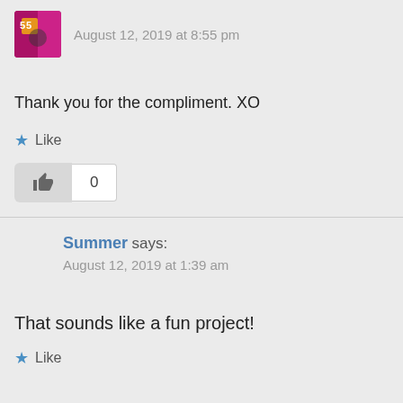[Figure (photo): User avatar image with pink and dark colors]
August 12, 2019 at 8:55 pm
Thank you for the compliment. XO
★ Like
👍 0
Summer says:
August 12, 2019 at 1:39 am
That sounds like a fun project!
★ Like